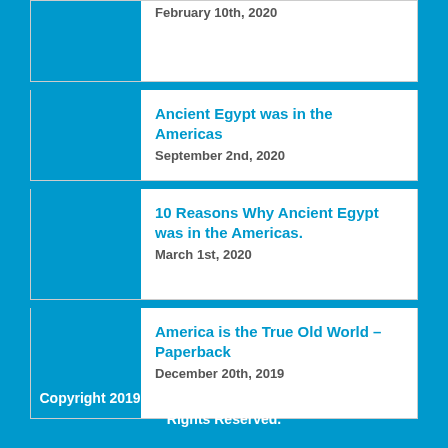February 10th, 2020
Ancient Egypt was in the Americas
September 2nd, 2020
10 Reasons Why Ancient Egypt was in the Americas.
March 1st, 2020
America is the True Old World – Paperback
December 20th, 2019
Copyright 2019-2022 America is the True Old World | All Rights Reserved.